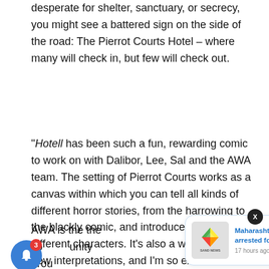desperate for shelter, sanctuary, or secrecy, you might see a battered sign on the side of the road: The Pierrot Courts Hotel – where many will check in, but few will check out.
"Hotell has been such a fun, rewarding comic to work on with Dalibor, Lee, Sal and the AWA team. The setting of Pierrot Courts works as a canvas within which you can tell all kinds of different horror stories, from the harrowing to the blackly comic, and introduce all manner of different characters. It's also a world ripe for new interpretations, and I'm so excited to see how Elle Callahan will bring our haunted hotel to the world of film," Lees said.
AWA is the the community around ators acro film, and television. In recent months AWA Studios, the
[Figure (screenshot): A news notification card overlay showing a logo (colorful diamond/hexagon shape with 'SAND NEWS' text), headline 'Maharashtra: Journalist arrested for killing lover,' and timestamp '17 hours ago', with a dark close button (X) in the top right and a blue bell notification icon with red badge showing '3' in the bottom left.]